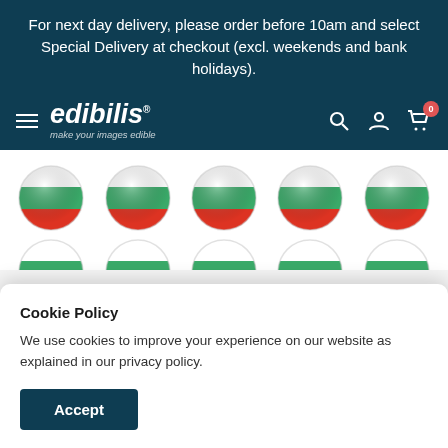For next day delivery, please order before 10am and select Special Delivery at checkout (excl. weekends and bank holidays).
[Figure (screenshot): Edibilis website navigation bar with hamburger menu, logo 'edibilis' with tagline 'make your images edible', search icon, account icon, and cart icon with badge showing 0]
[Figure (photo): Two rows of circular glossy Bulgarian flag badges/buttons showing white, green, and red horizontal stripes]
Cookie Policy
We use cookies to improve your experience on our website as explained in our privacy policy.
Accept